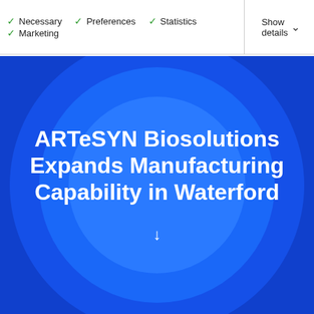✓ Necessary  ✓ Preferences  ✓ Statistics  ✓ Marketing  Show details ▾
[Figure (illustration): Blue hero banner with concentric circles and white bold headline text: ARTeSYN Biosolutions Expands Manufacturing Capability in Waterford, with a downward arrow below]
ARTeSYN Biosolutions Expands Manufacturing Capability in Waterford